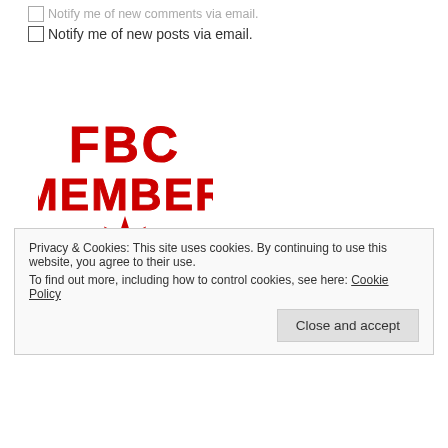Notify me of new comments via email.
Notify me of new posts via email.
[Figure (logo): FBC MEMBER logo with red outlined block letters, a red maple leaf, and text foodbloggersofcanada.com]
Privacy & Cookies: This site uses cookies. By continuing to use this website, you agree to their use. To find out more, including how to control cookies, see here: Cookie Policy
Close and accept